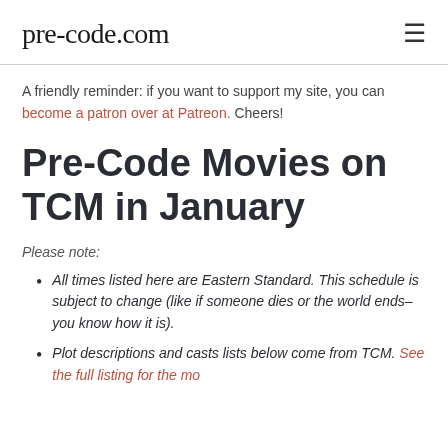pre-code.com
A friendly reminder: if you want to support my site, you can become a patron over at Patreon. Cheers!
Pre-Code Movies on TCM in January
Please note:
All times listed here are Eastern Standard. This schedule is subject to change (like if someone dies or the world ends–you know how it is).
Plot descriptions and casts lists below come from TCM. See the full listing for the month…